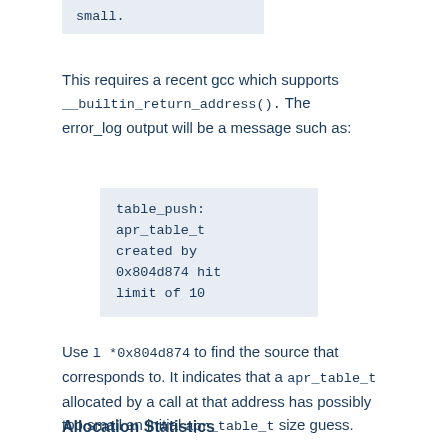small.
This requires a recent gcc which supports __builtin_return_address(). The error_log output will be a message such as:
table_push: apr_table_t created by 0x804d874 hit limit of 10
Use l *0x804d874 to find the source that corresponds to. It indicates that a apr_table_t allocated by a call at that address has possibly too small an initial apr_table_t size guess.
Allocation Statistics